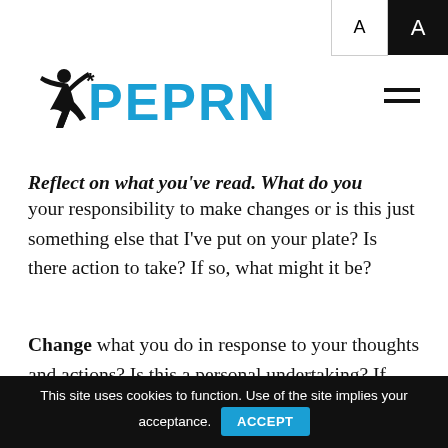[Figure (logo): PEPRN logo with running figure silhouette and the text PEPRN in blue and black]
Reflect on what you've read. What do you believe? Is it your responsibility to make changes or is this just something else that I've put on your plate? Is there action to take? If so, what might it be?
Change what you do in response to your thoughts and actions? Is this a personal undertaking? If you want to do something, or are looking for help, then please let the community know about it.
This site uses cookies to function. Use of the site implies your acceptance. ACCEPT